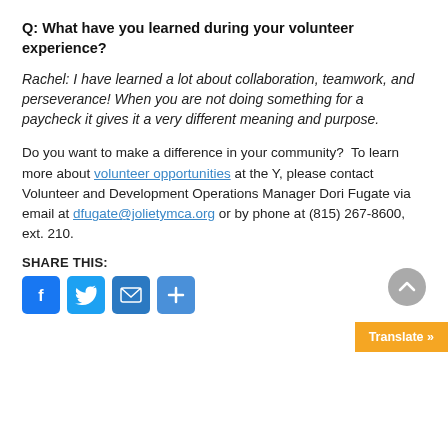Q: What have you learned during your volunteer experience?
Rachel: I have learned a lot about collaboration, teamwork, and perseverance! When you are not doing something for a paycheck it gives it a very different meaning and purpose.
Do you want to make a difference in your community?  To learn more about volunteer opportunities at the Y, please contact Volunteer and Development Operations Manager Dori Fugate via email at dfugate@jolietymca.org or by phone at (815) 267-8600, ext. 210.
SHARE THIS:
[Figure (other): Social share icons: Facebook, Twitter, Email, Share buttons; scroll-to-top button; Translate button]